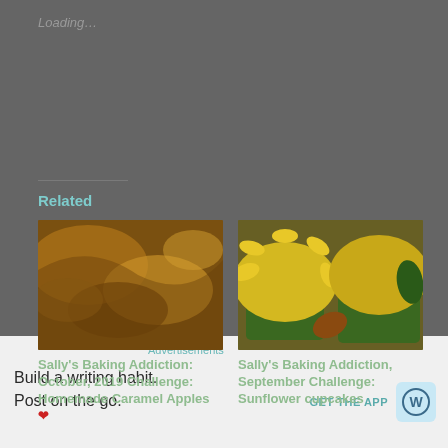Loading…
Related
[Figure (photo): Photo of homemade caramel apples with caramel sauce]
Sally's Baking Addiction: October, 2019 Challenge: Homemade Caramel Apples 🍎
October 25, 2019
In "Culinary"
[Figure (photo): Photo of sunflower cupcakes with yellow frosting in green cupcake liners]
Sally's Baking Addiction, September Challenge: Sunflower cupcakes
September 27, 2017
In "Culinary"
Advertisements
Build a writing habit. Post on the go.
GET THE APP